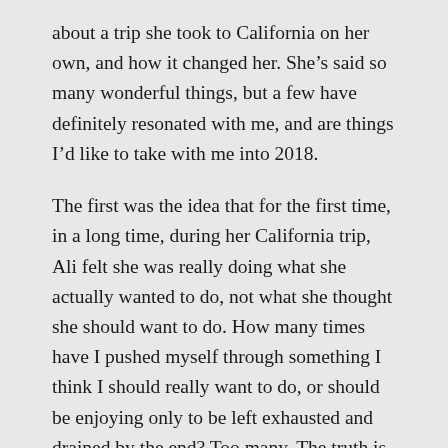about a trip she took to California on her own, and how it changed her. She's said so many wonderful things, but a few have definitely resonated with me, and are things I'd like to take with me into 2018.
The first was the idea that for the first time, in a long time, during her California trip, Ali felt she was really doing what she actually wanted to do, not what she thought she should want to do. How many times have I pushed myself through something I think I should really want to do, or should be enjoying only to be left exhausted and drained by the end? Too many. The truth is, I do have to work everyday, and I am currently in a position where I am frontline and interacting with members my whole shift. This is a